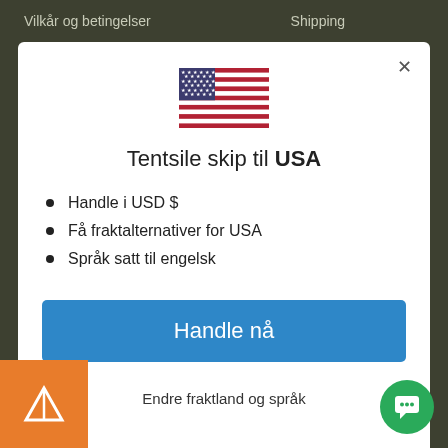Vilkår og betingelser    Shipping
[Figure (illustration): US flag (Stars and Stripes) icon centered in modal]
Tentsile skip til USA
Handle i USD $
Få fraktalternativer for USA
Språk satt til engelsk
Handle nå
Endre fraktland og språk